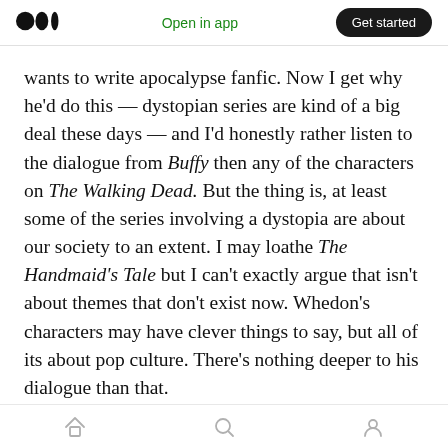Medium logo | Open in app | Get started
wants to write apocalypse fanfic. Now I get why he'd do this — dystopian series are kind of a big deal these days — and I'd honestly rather listen to the dialogue from Buffy then any of the characters on The Walking Dead. But the thing is, at least some of the series involving a dystopia are about our society to an extent. I may loathe The Handmaid's Tale but I can't exactly argue that isn't about themes that don't exist now. Whedon's characters may have clever things to say, but all of its about pop culture. There's nothing deeper to his dialogue than that.
Home | Search | Profile